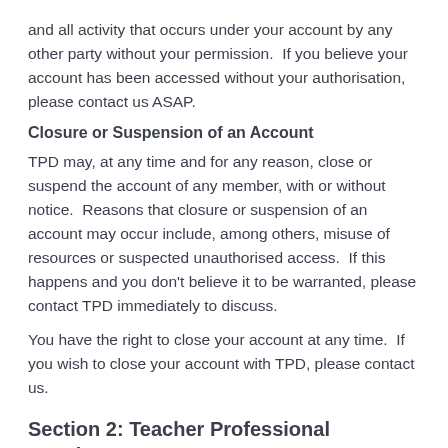and all activity that occurs under your account by any other party without your permission.  If you believe your account has been accessed without your authorisation, please contact us ASAP.
Closure or Suspension of an Account
TPD may, at any time and for any reason, close or suspend the account of any member, with or without notice.  Reasons that closure or suspension of an account may occur include, among others, misuse of resources or suspected unauthorised access.  If this happens and you don't believe it to be warranted, please contact TPD immediately to discuss.
You have the right to close your account at any time.  If you wish to close your account with TPD, please contact us.
Section 2: Teacher Professional Development Courses